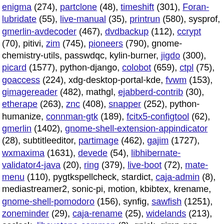enigma (274), partclone (48), timeshift (301), Foran-lubridate (55), live-manual (35), printrun (580), sysprof, gmerlin-avdecoder (467), dvdbackup (112), ccrypt (70), pitivi, zim (745), pioneers (790), gnome-chemistry-utils, passwdqc, kylin-burner, jigdo (300), picard (1577), python-django, colobot (659), ctpl (75), goaccess (224), xdg-desktop-portal-kde, fvwm (153), gimagereader (482), mathgl, ejabberd-contrib (30), etherape (263), znc (408), snapper (252), python-humanize, connman-gtk (189), fcitx5-configtool (62), gmerlin (1402), gnome-shell-extension-appindicator (28), subtitleeditor, partimage (462), gajim (1727), wxmaxima (1631), devede (54), libhibernate-validator4-java (20), ring (379), live-boot (72), mate-menu (110), pygtkspellcheck, stardict, caja-admin (8), mediastreamer2, sonic-pi, motion, kbibtex, krename, gnome-shell-pomodoro (156), synfig, sawfish (1251), zoneminder (29), caja-rename (25), widelands (213), asclock, libayatana-common (2), gpick, gimp-gap, barcode (22), celluloid, kdb, mate-dock-applet, homebank, xfce4-sntray-plugin (30),